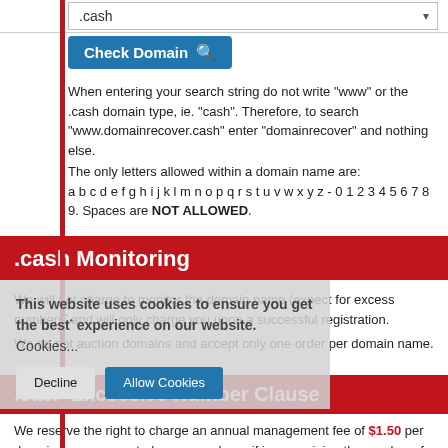.cash
Check Domain
When entering your search string do not write "www" or the .cash domain type, ie. "cash". Therefore, to search "www.domainrecover.cash" enter "domainrecover" and nothing else.
The only letters allowed within a domain name are: a b c d e f g h i j k l m n o p q r s t u v w x y z - 0 1 2 3 4 5 6 7 8 9. Spaces are NOT ALLOWED.
.cash Monitoring
We will not charge to monitor the domain name (expect for excess numbers* and will only charge you upon a successful registration.
We do not auction domains and accept only one order per domain name.
.cash Excessive Number Clause
This website uses cookies to ensure you get the best* experience on our website.  Cookies...
We reserve the right to charge an annual management fee of $1.50 per domain name requested per year where, if in our opinion the number of names being monitored in an account is excessive (over 300 domains).